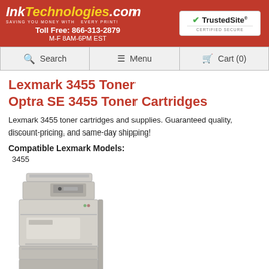InkTechnologies.com — SAVING YOU MONEY WITH EVERY PRINT! Toll Free: 866-313-2879 M-F 8AM-6PM EST
[Figure (logo): TrustedSite Certified Secure badge with green checkmark]
Lexmark 3455 Toner Optra SE 3455 Toner Cartridges
Lexmark 3455 toner cartridges and supplies. Guaranteed quality, discount-pricing, and same-day shipping!
Compatible Lexmark Models:
3455
[Figure (photo): Lexmark 3455 laser printer, white/grey color, front-right view]